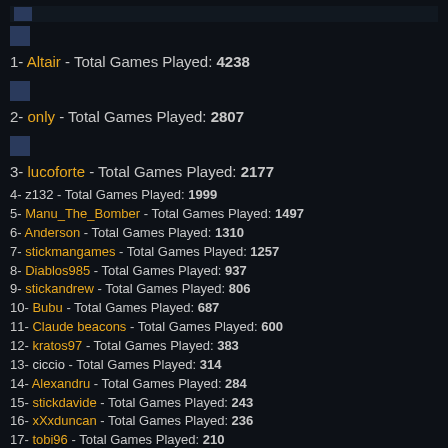1- Altair - Total Games Played: 4238
2- only - Total Games Played: 2807
3- lucoforte - Total Games Played: 2177
4- z132 - Total Games Played: 1999
5- Manu_The_Bomber - Total Games Played: 1497
6- Anderson - Total Games Played: 1310
7- stickmangames - Total Games Played: 1257
8- Diablos985 - Total Games Played: 937
9- stickandrew - Total Games Played: 806
10- Bubu - Total Games Played: 687
11- Claude beacons - Total Games Played: 600
12- kratos97 - Total Games Played: 383
13- ciccio - Total Games Played: 314
14- Alexandru - Total Games Played: 284
15- stickdavide - Total Games Played: 243
16- xXxduncan - Total Games Played: 236
17- tobi96 - Total Games Played: 210